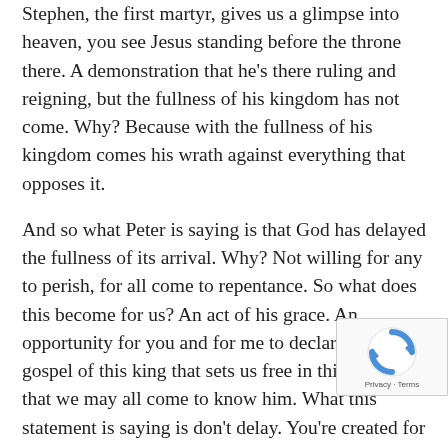Stephen, the first martyr, gives us a glimpse into heaven, you see Jesus standing before the throne there. A demonstration that he's there ruling and reigning, but the fullness of his kingdom has not come. Why? Because with the fullness of his kingdom comes his wrath against everything that opposes it.
And so what Peter is saying is that God has delayed the fullness of its arrival. Why? Not willing for any to perish, for all come to repentance. So what does this become for us? An act of his grace. An opportunity for you and for me to declare this gospel of this king that sets us free in this world that we may all come to know him. What this statement is saying is don't delay. You're created for this king. You're created to belong. And Jesus is extending his hand of grace for your opportunity to know him, and to rest in his grace and
[Figure (other): reCAPTCHA badge with spinning arrows logo and Privacy - Terms links]